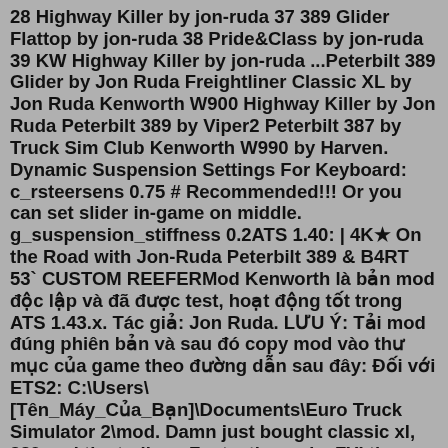28 Highway Killer by jon-ruda 37 389 Glider Flattop by jon-ruda 38 Pride&Class by jon-ruda 39 KW Highway Killer by jon-ruda ...Peterbilt 389 Glider by Jon Ruda Freightliner Classic XL by Jon Ruda Kenworth W900 Highway Killer by Jon Ruda Peterbilt 389 by Viper2 Peterbilt 387 by Truck Sim Club Kenworth W990 by Harven. Dynamic Suspension Settings For Keyboard: c_rsteersens 0.75 # Recommended!!! Or you can set slider in-game on middle. g_suspension_stiffness 0.2ATS 1.40: | 4K★ On the Road with Jon-Ruda Peterbilt 389 & B4RT 53` CUSTOM REEFERMod Kenworth là bản mod độc lập và đã được test, hoạt động tốt trong ATS 1.43.x. Tác giả: Jon Ruda. LƯU Ý: Tải mod đúng phiên bản và sau đó copy mod vào thư mục của game theo đường dẫn sau đây: Đối với ETS2: C:\Users\[Tên_Máy_Của_Bạn]\Documents\Euro Truck Simulator 2\mod. Damn just bought classic xl, 389 and the trailers. Fantastic mods. FYI the prices have gone up relatively recently. I bought it yesterday the 389 was $18 with the discount and the trailer pack